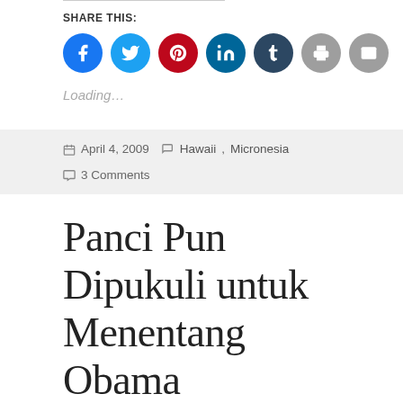SHARE THIS:
[Figure (other): Row of social share icon buttons: Facebook (blue), Twitter (cyan), Pinterest (red), LinkedIn (teal), Tumblr (dark blue), Print (grey), Email (grey)]
Loading…
April 4, 2009   Hawaii, Micronesia   3 Comments
Panci Pun Dipukuli untuk Menentang Obama
[Figure (photo): Dark nighttime outdoor photograph, partially visible]